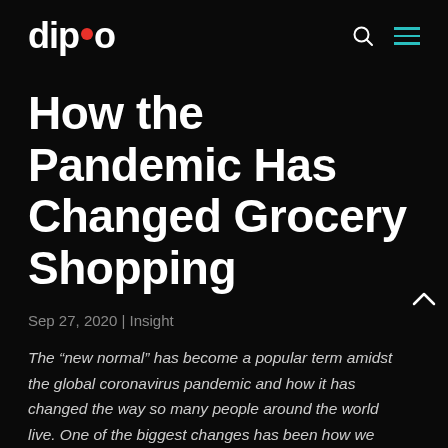dipo
How the Pandemic Has Changed Grocery Shopping
Sep 27, 2020 | Insight
The “new normal” has become a popular term amidst the global coronavirus pandemic and how it has changed the way so many people around the world live. One of the biggest changes has been how we shop for groceries.